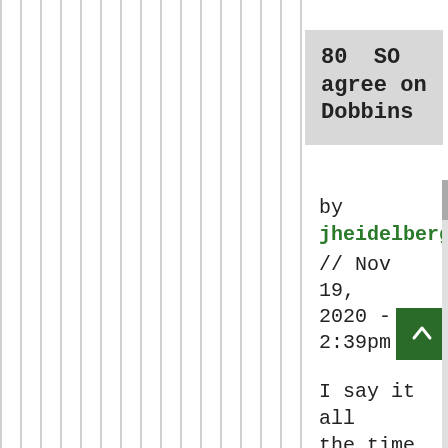80  SO agree on Dobbins
by jheidelberg // Nov 19, 2020 - 2:39pm
I say it all the time, the best receive that th Ravens have are Brown and Snead, but